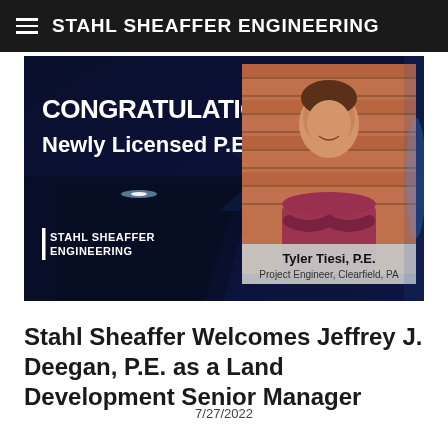STAHL SHEAFFER ENGINEERING
[Figure (photo): Congratulations banner for Newly Licensed P.E. Tyler Tiesi, P.E., Project Engineer, Clearfield, PA. Dark blue background with Stahl Sheaffer Engineering logo on left, photo of Tyler Tiesi on right against brick wall background.]
Stahl Sheaffer Welcomes Jeffrey J. Deegan, P.E. as a Land Development Senior Manager
7/27/2022